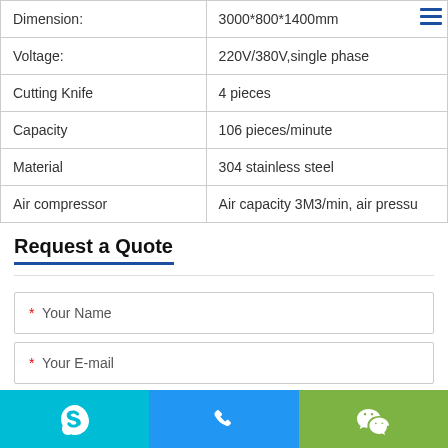| Property | Value |
| --- | --- |
| Dimension: | 3000*800*1400mm |
| Voltage: | 220V/380V,single phase |
| Cutting Knife | 4 pieces |
| Capacity | 106 pieces/minute |
| Material | 304 stainless steel |
| Air compressor | Air capacity 3M3/min, air pressu |
Request a Quote
* Your Name
* Your E-mail
Tel